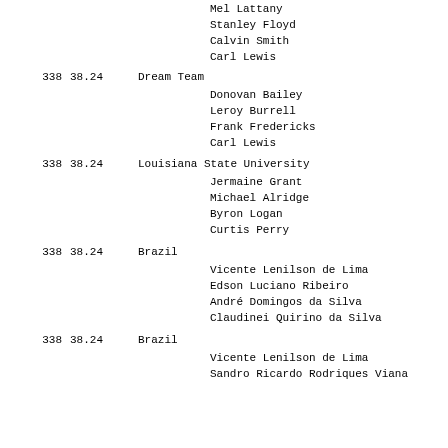Mel Lattany
Stanley Floyd
Calvin Smith
Carl Lewis
338   38.24   Dream Team

Donovan Bailey
Leroy Burrell
Frank Fredericks
Carl Lewis
338   38.24   Louisiana State University

Jermaine Grant
Michael Alridge
Byron Logan
Curtis Perry
338   38.24   Brazil

Vicente Lenilson de Lima
Edson Luciano Ribeiro
André Domingos da Silva
Claudinei Quirino da Silva
338   38.24   Brazil

Vicente Lenilson de Lima
Sandro Ricardo Rodriques Viana